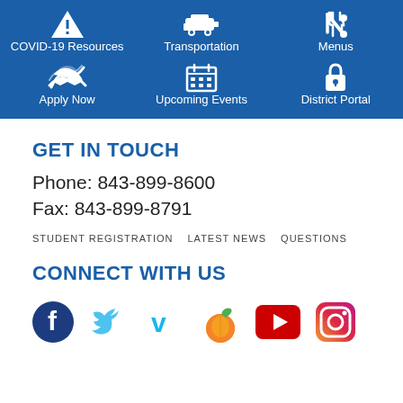[Figure (infographic): Blue navigation bar with 6 icons and labels: COVID-19 Resources (warning triangle icon), Transportation (bus icon), Menus (fork and knife icon), Apply Now (handshake icon), Upcoming Events (calendar icon), District Portal (lock icon)]
GET IN TOUCH
Phone: 843-899-8600
Fax: 843-899-8791
STUDENT REGISTRATION
LATEST NEWS
QUESTIONS
CONNECT WITH US
[Figure (infographic): Social media icons row: Facebook (dark blue f), Twitter (light blue bird), Vimeo (cyan V), Peachjar (orange peach), YouTube (red play button), Instagram (gradient camera)]